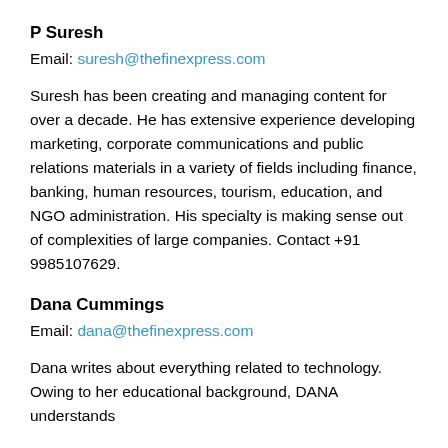P Suresh
Email: suresh@thefinexpress.com
Suresh has been creating and managing content for over a decade. He has extensive experience developing marketing, corporate communications and public relations materials in a variety of fields including finance, banking, human resources, tourism, education, and NGO administration. His specialty is making sense out of complexities of large companies. Contact +91 9985107629.
Dana Cummings
Email: dana@thefinexpress.com
Dana writes about everything related to technology. Owing to her educational background, DANA understands